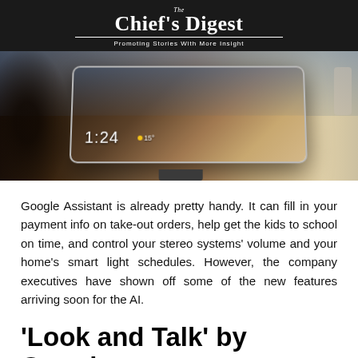The Chief's Digest – Promoting Stories With More Insight
[Figure (photo): A Google Nest Hub smart display device showing time 1:24 and temperature 15°, photographed on a wooden surface with blurred background]
Google Assistant is already pretty handy. It can fill in your payment info on take-out orders, help get the kids to school on time, and control your stereo systems' volume and your home's smart light schedules. However, the company executives have shown off some of the new features arriving soon for the AI.
'Look and Talk' by Google